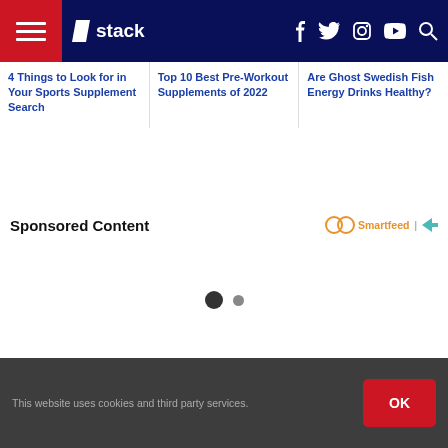Stack — Navigation bar with hamburger menu, logo, social icons
4 Things to Look for in Your Sports Supplement Search
Top 10 Best Pre-Workout Supplements of 2022
Are Ghost Swedish Fish Energy Drinks Healthy?
Sponsored Content
[Figure (other): Smartfeed logo and carousel dot indicators]
This website uses cookies and third party services.